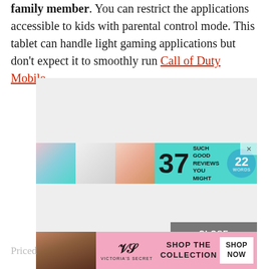family member. You can restrict the applications accessible to kids with parental control mode. This tablet can handle light gaming applications but don't expect it to smoothly run Call of Duty Mobile.
[Figure (other): Advertisement banner: '37 Beauty Products With Such Good Reviews You Might Want To Try Them Yourself' on teal background with product images and 22 Words badge]
[Figure (other): Victoria's Secret advertisement banner on pink background: 'Shop The Collection' with Shop Now button]
Priced